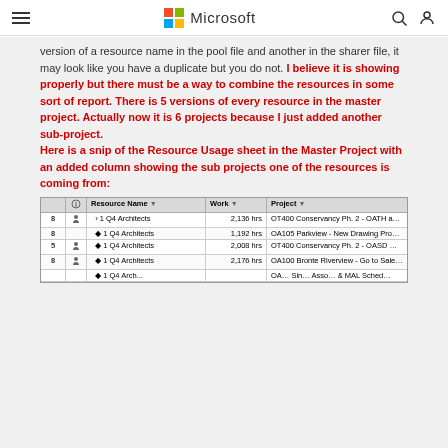Microsoft
version of a resource name in the pool file and another in the sharer file, it may look like you have a duplicate but you do not. I believe it is showing properly but there must be a way to combine the resources in some sort of report. There is 5 versions of every resource in the master project. Actually now it is 6 projects because I just added another sub-project.
Here is a snip of the Resource Usage sheet in the Master Project with an added column showing the sub projects one of the resources is coming from:
[Figure (screenshot): Screenshot of Microsoft Project Resource Usage sheet showing columns: Resource Name, Work, Project. Rows show '1 Q4 Architects' appearing multiple times with different work hours (2,136 hrs, 1,192 hrs, 2,008 hrs, 2,176 hrs) and different project names (OT400 Conservancy Ph. 2 - OATH and OARL Schedule, OA105 Parkview - New Drawing Production Schedule, OT400 Conservancy Ph. 2 - OASD Models, OA100 Bronte Riverview - Go to Sale and Construction Sc).]